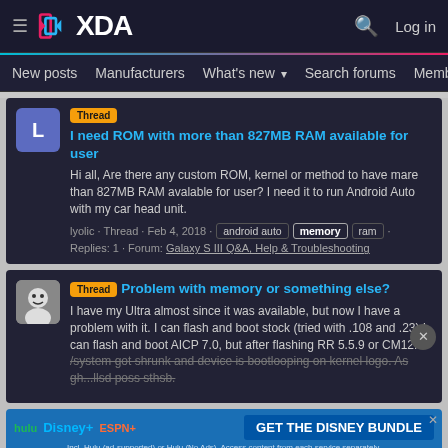XDA — Navigation bar with logo, search, and Log in
New posts · Manufacturers · What's new · Search forums · Members
Thread — I need ROM with more than 827MB RAM available for user
Hi all, Are there any custom ROM, kernel or method to have mare than 827MB RAM avalable for user? I need it to run Android Auto with my car head unit.
lyolic · Thread · Feb 4, 2018 · android auto · memory · ram ·
Replies: 1 · Forum: Galaxy S III Q&A, Help & Troubleshooting
Thread — Problem with memory or something else?
I have my Ultra almost since it was available, but now I have a problem with it. I can flash and boot stock (tried with .108 and .23) I can flash and boot AICP 7.0, but after flashing RR 5.5.9 or CM12.1 /system got shrunk and device is bootlooping on kernel logo. As gh...llsd poss sthsb.
[Figure (other): Disney Bundle advertisement: hulu, Disney+, ESPN+ — GET THE DISNEY BUNDLE. Incl. Hulu (ad-supported) or Hulu (No Ads). Access content from each service separately. ©2021 Disney and its related entities]